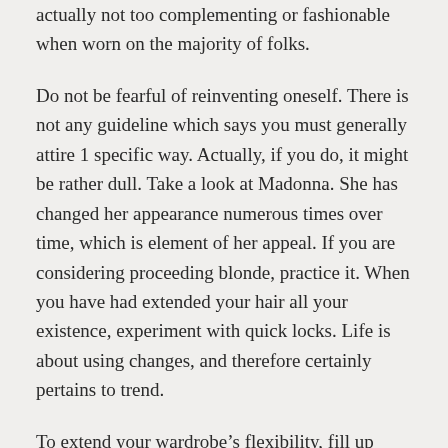actually not too complementing or fashionable when worn on the majority of folks.
Do not be fearful of reinventing oneself. There is not any guideline which says you must generally attire 1 specific way. Actually, if you do, it might be rather dull. Take a look at Madonna. She has changed her appearance numerous times over time, which is element of her appeal. If you are considering proceeding blonde, practice it. When you have had extended your hair all your existence, experiment with quick locks. Life is about using changes, and therefore certainly pertains to trend.
To extend your wardrobe’s flexibility, fill up your clothing collection with many different scarves and straps in various habits and styles. You should use these to include a a little attention to some reliable tinted best. You should use these in countless mixtures to create a